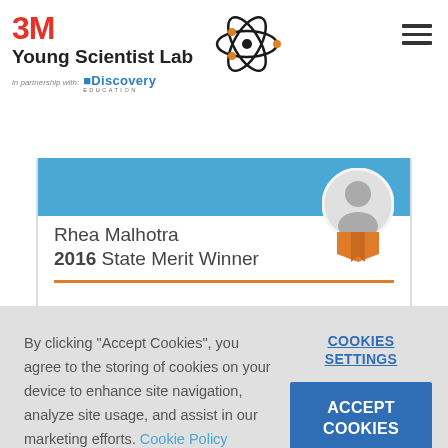3M Young Scientist Lab in partnership with Discovery Education
[Figure (screenshot): Profile card showing Rhea Malhotra, 2016 State Merit Winner, with blue banner, avatar badge with orange ribbon, and orange horizontal bar]
By clicking "Accept Cookies", you agree to the storing of cookies on your device to enhance site navigation, analyze site usage, and assist in our marketing efforts. Cookie Policy
COOKIES SETTINGS
ACCEPT COOKIES